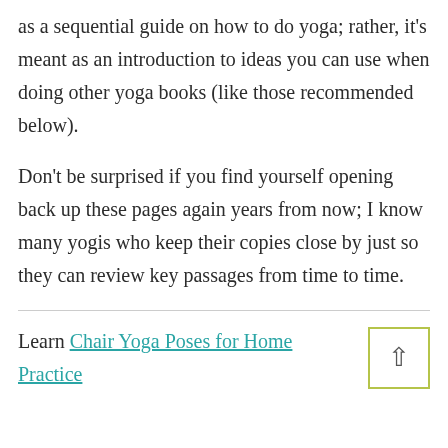as a sequential guide on how to do yoga; rather, it's meant as an introduction to ideas you can use when doing other yoga books (like those recommended below).
Don't be surprised if you find yourself opening back up these pages again years from now; I know many yogis who keep their copies close by just so they can review key passages from time to time.
Learn Chair Yoga Poses for Home Practice